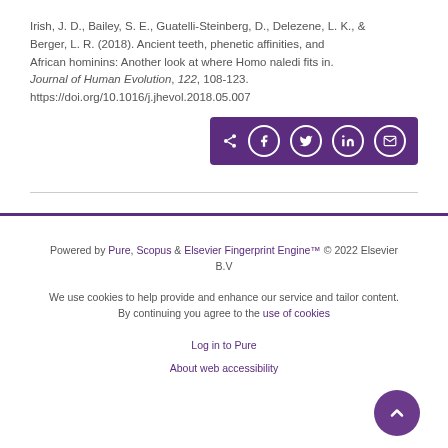Irish, J. D., Bailey, S. E., Guatelli-Steinberg, D., Delezene, L. K., & Berger, L. R. (2018). Ancient teeth, phenetic affinities, and African hominins: Another look at where Homo naledi fits in. Journal of Human Evolution, 122, 108-123. https://doi.org/10.1016/j.jhevol.2018.05.007
[Figure (other): Share bar with social media icons: share, Facebook, Twitter, LinkedIn, email]
Powered by Pure, Scopus & Elsevier Fingerprint Engine™ © 2022 Elsevier B.V
We use cookies to help provide and enhance our service and tailor content. By continuing you agree to the use of cookies
Log in to Pure
About web accessibility